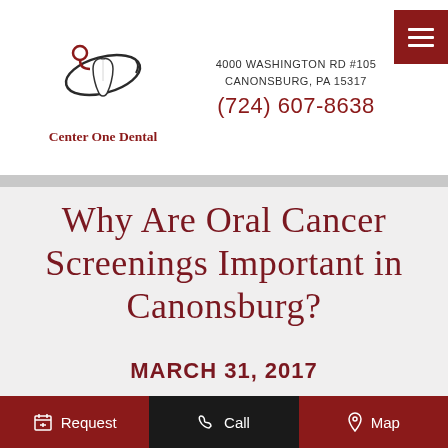[Figure (logo): Center One Dental logo — stylized tooth with orbital ring around it]
Center One Dental
4000 WASHINGTON RD #105
CANONSBURG, PA 15317
(724) 607-8638
Why Are Oral Cancer Screenings Important in Canonsburg?
MARCH 31, 2017
Request   Call   Map